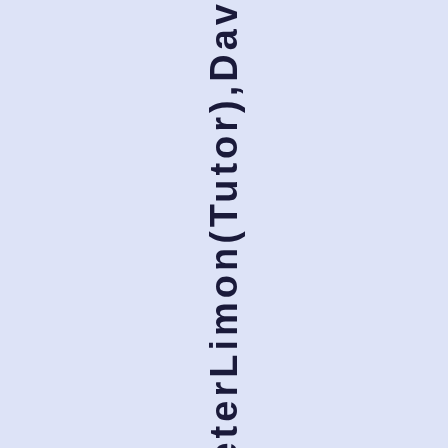ieCrooks,PeterLimon(Tutor),Dav